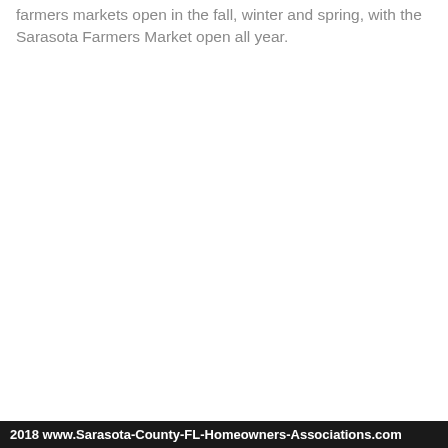farmers markets open in the fall, winter and spring, with the Sarasota Farmers Market open all year.
2018 www.Sarasota-County-FL-Homeowners-Associations.com